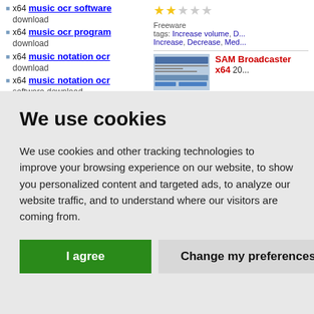x64 music ocr software download
x64 music ocr program download
x64 music notation ocr download
x64 music notation ocr software download
Freeware
tags: Increase volume, D... Increase, Decrease, Med...
SAM Broadcaster x64 20...
We use cookies
We use cookies and other tracking technologies to improve your browsing experience on our website, to show you personalized content and targeted ads, to analyze our website traffic, and to understand where our visitors are coming from.
I agree
Change my preferences